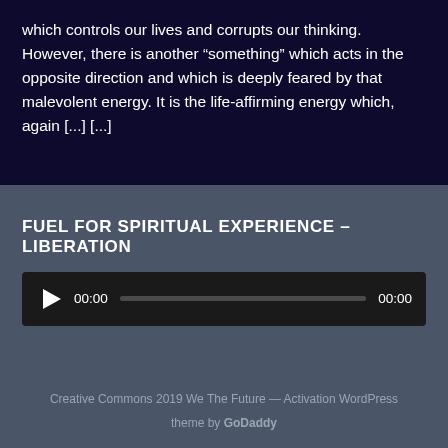which controls our lives and corrupts our thinking. However, there is another “something” which acts in the opposite direction and which is deeply feared by that malevolent energy. It is the life-affirming energy which, again [...] [...]
FUEL FOR SPIRITUAL EXPERIENCE – LIBERATION
[Figure (other): Audio player widget with play button, time display showing 00:00, progress bar, and end time showing 00:00]
Creative Commons 2019 We The Future — Activation WordPress theme by GoDaddy